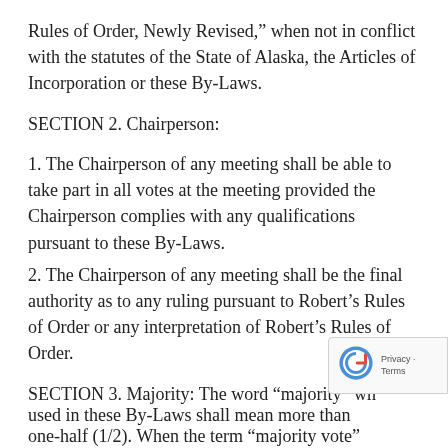Rules of Order, Newly Revised,” when not in conflict with the statutes of the State of Alaska, the Articles of Incorporation or these By-Laws.
SECTION 2. Chairperson:
1. The Chairperson of any meeting shall be able to take part in all votes at the meeting provided the Chairperson complies with any qualifications pursuant to these By-Laws.
2. The Chairperson of any meeting shall be the final authority as to any ruling pursuant to Robert’s Rules of Order or any interpretation of Robert’s Rules of Order.
SECTION 3. Majority: The word “majority” wh… used in these By-Laws shall mean more than… one-half (1/2). When the term “majority vote”